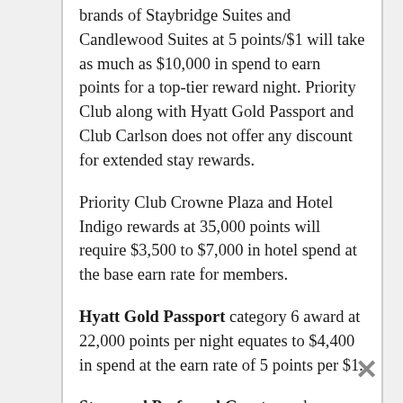brands of Staybridge Suites and Candlewood Suites at 5 points/$1 will take as much as $10,000 in spend to earn points for a top-tier reward night. Priority Club along with Hyatt Gold Passport and Club Carlson does not offer any discount for extended stay rewards.
Priority Club Crowne Plaza and Hotel Indigo rewards at 35,000 points will require $3,500 to $7,000 in hotel spend at the base earn rate for members.
Hyatt Gold Passport category 6 award at 22,000 points per night equates to $4,400 in spend at the earn rate of 5 points per $1.
Starwood Preferred Guest members earn 2 points per $1. A category-7 hotel is 30,000 points in low season if it is not a specialty 'ho